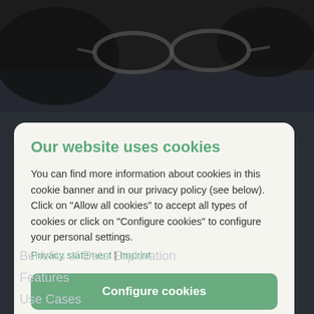[Figure (screenshot): Dark blurred background with what appears to be glasses or lenses visible]
Our website uses cookies
You can find more information about cookies in this cookie banner and in our privacy policy (see below). Click on "Allow all cookies" to accept all types of cookies or click on "Configure cookies" to configure your personal settings.
Privacy statement | Imprint
Configure cookies
Allow all cookies
Benefits of Data Exploration
Features
Use Cases
Watch Video